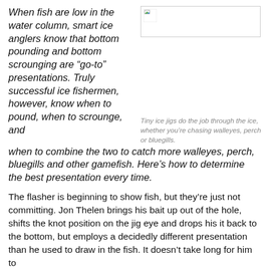When fish are low in the water column, smart ice anglers know that bottom pounding and bottom scrounging are “go-to” presentations. Truly successful ice fishermen, however, know when to pound, when to scrounge, and when to combine the two to catch more walleyes, perch, bluegills and other gamefish. Here’s how to determine the best presentation every time.
[Figure (photo): Broken/missing image placeholder with small image icon in top-left corner]
Tiny ice jigs do the job through the ice, whether you’re chasing walleyes, perch or bluegills.
The flasher is beginning to show fish, but they’re just not committing. Jon Thelen brings his bait up out of the hole, shifts the knot position on the jig eye and drops his it back to the bottom, but employs a decidedly different presentation than he used to draw in the fish. It doesn’t take long for him to